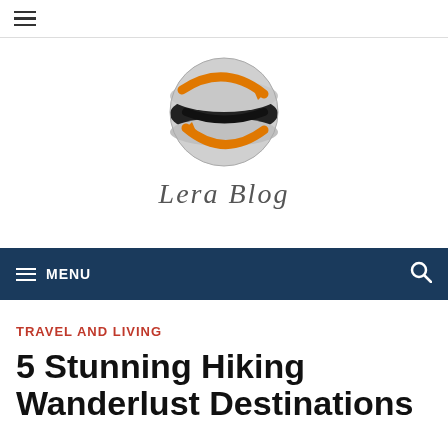≡ (hamburger menu icon)
[Figure (logo): Lera Blog logo: a globe with orange and black swoosh arrows, with the text 'Lera Blog' in italic serif below]
≡ MENU (navigation bar with search icon)
TRAVEL AND LIVING
5 Stunning Hiking Wanderlust Destinations